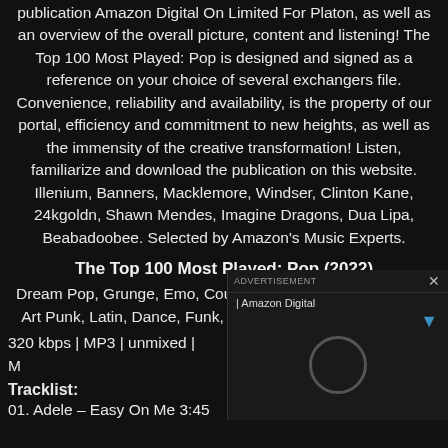publication Amazon Digital On Limited For Platon, as well as an overview of the overall picture, content and listening! The Top 100 Most Played: Pop is designed and signed as a reference on your choice of several exchangers file. Convenience, reliability and availability, is the property of our portal, efficiency and commitment to new heights, as well as the immensity of the creative transformation! Listen, familiarize and download the publication on this website. Illenium, Banners, Macklemore, Windser, Clinton Kane, 24kgoldn, Shawn Mendes, Imagine Dragons, Dua Lipa, Beabadoobee. Selected by Amazon's Music Experts.
The Top 100 Most Played: Pop (2022)
Dream Pop, Grunge, Emo, Country, Folk, Indie, Disco, Funk, Art Punk, Latin, Dance, Funk, Downtempo | Amazon Digital
320 kbps | MP3 | unmixed |
Tracklist:
01. Adele – Easy On Me 3:45